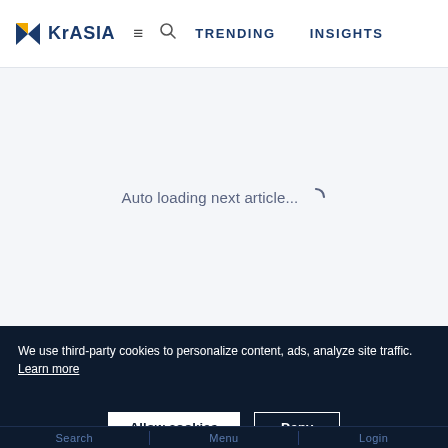KrASIA  ≡  🔍  TRENDING   INSIGHTS
Auto loading next article...
We use third-party cookies to personalize content, ads, analyze site traffic.
Learn more
Allow cookies   Deny
Search   Menu   Login